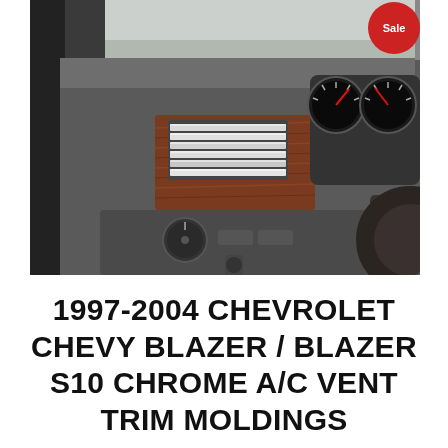[Figure (photo): Interior photo of a Chevrolet Blazer dashboard showing chrome A/C vent trim moldings with wood grain surround, instrument cluster with gauges, and climate/HVAC controls. A red 'Sale' badge is visible in the upper right corner of the image.]
1997-2004 CHEVROLET CHEVY BLAZER / BLAZER S10 CHROME A/C VENT TRIM MOLDINGS